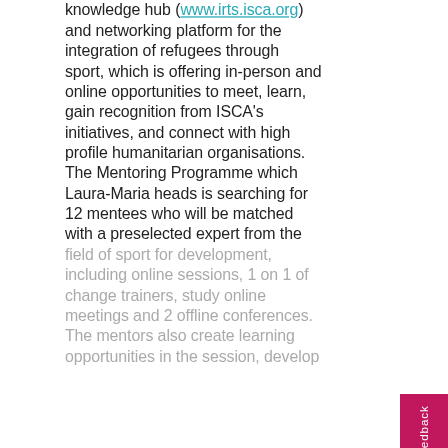knowledge hub (www.irts.isca.org) and networking platform for the integration of refugees through sport, which is offering in-person and online opportunities to meet, learn, gain recognition from ISCA's initiatives, and connect with high profile humanitarian organisations. The Mentoring Programme which Laura-Maria heads is searching for 12 mentees who will be matched with a preselected expert from the field of sport for development, including online sessions, 1 on 1 change trainers, study online meetings and 2 offline conferences. The mentors also create learning opportunities in the session, develop their capacities, the cross-cultural
We use cookies on our website to support technical features that enhance your user experience. We also use analytics & advertising services. To opt-out click for more information.